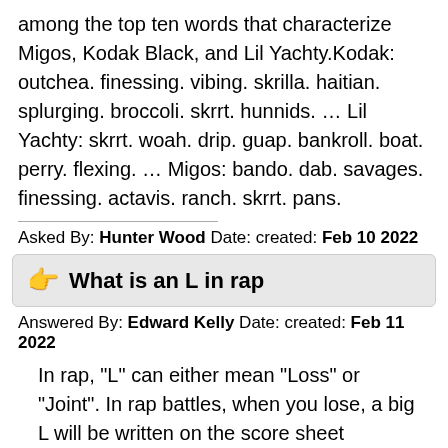among the top ten words that characterize Migos, Kodak Black, and Lil Yachty.Kodak: outchea. finessing. vibing. skrilla. haitian. splurging. broccoli. skrrt. hunnids. … Lil Yachty: skrrt. woah. drip. guap. bankroll. boat. perry. flexing. … Migos: bando. dab. savages. finessing. actavis. ranch. skrrt. pans.
Asked By: Hunter Wood Date: created: Feb 10 2022
What is an L in rap
Answered By: Edward Kelly Date: created: Feb 11 2022
In rap, "L" can either mean "Loss" or "Joint". In rap battles, when you lose, a big L will be written on the score sheet